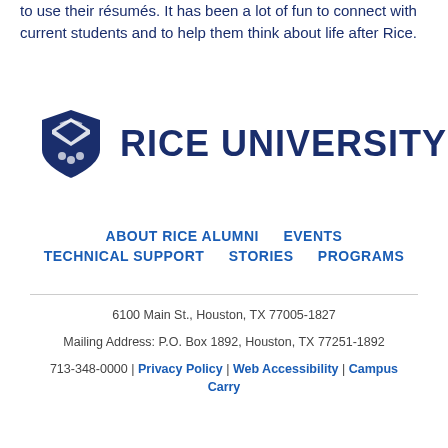to use their résumés. It has been a lot of fun to connect with current students and to help them think about life after Rice.
[Figure (logo): Rice University shield logo with 'RICE UNIVERSITY' text in dark navy blue]
ABOUT RICE ALUMNI   EVENTS   TECHNICAL SUPPORT   STORIES   PROGRAMS
6100 Main St., Houston, TX 77005-1827
Mailing Address: P.O. Box 1892, Houston, TX 77251-1892
713-348-0000 | Privacy Policy | Web Accessibility | Campus Carry